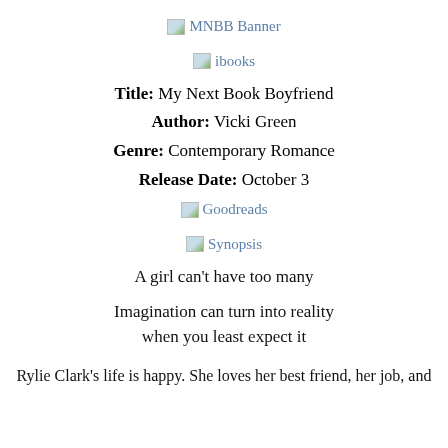[Figure (other): MNBB Banner image placeholder]
[Figure (other): ibooks image placeholder]
Title: My Next Book Boyfriend
Author: Vicki Green
Genre: Contemporary Romance
Release Date: October 3
[Figure (other): Goodreads image placeholder]
[Figure (other): Synopsis image placeholder]
A girl can't have too many
Imagination can turn into reality
when you least expect it
Rylie Clark's life is happy. She loves her best friend, her job, and